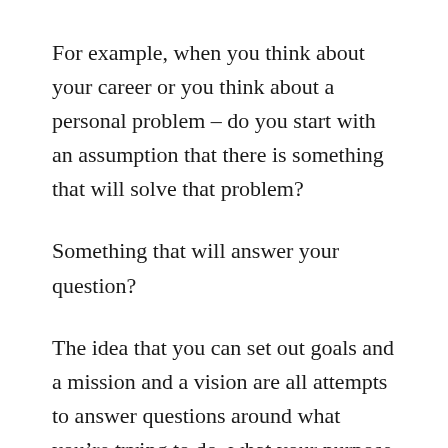For example, when you think about your career or you think about a personal problem – do you start with an assumption that there is something that will solve that problem?
Something that will answer your question?
The idea that you can set out goals and a mission and a vision are all attempts to answer questions around what you're trying to do, what your purpose is, what makes you happy.